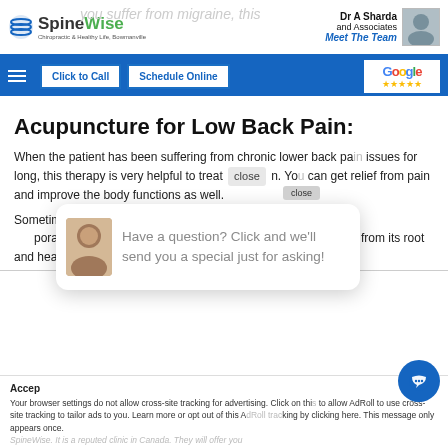[Figure (logo): SpineWise logo with green and grey text and circular icon]
Dr A Sharda and Associates
Meet The Team
Click to Call | Schedule Online | Google Reviews ★★★★★
Acupuncture for Low Back Pain:
When the patient has been suffering from chronic lower back pain issues for long, this therapy is very helpful to treat pain. You can get relief from pain and improve the body functions as well.
Sometimes you need remedies for your low back pain for temporary relief from the pain issues from its root and heal your body.
[Figure (infographic): Chat popup with avatar: Have a question? Click and we'll send you a special just for asking!]
Your browser settings do not allow cross-site tracking for advertising. Click on this to allow AdRoll to use cross-site tracking to tailor ads to you. Learn more or opt out of this AdRoll tracking by clicking here. This message only appears once.
SpineWise. It is a reputed clinic in Canada. They will offer you